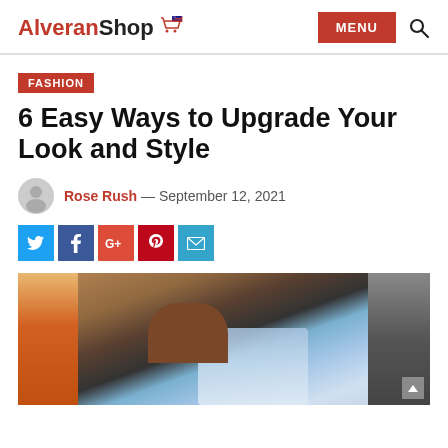Alveran Shop
FASHION
6 Easy Ways to Upgrade Your Look and Style
Rose Rush — September 12, 2021
[Figure (other): Social sharing buttons: Twitter, Facebook, Google+, Pinterest, Email]
[Figure (photo): A man in ripped jeans and dark shirt leaning forward on wooden railway tracks, urban background with orange-painted wall and iron structures.]